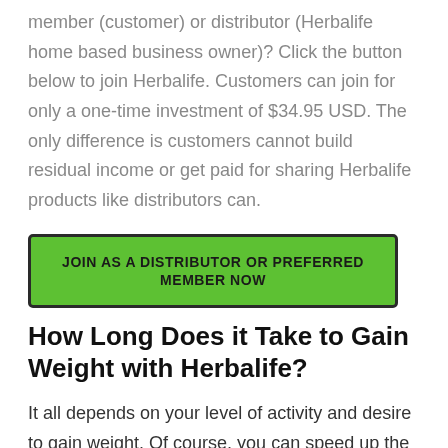member (customer) or distributor (Herbalife home based business owner)? Click the button below to join Herbalife. Customers can join for only a one-time investment of $34.95 USD. The only difference is customers cannot build residual income or get paid for sharing Herbalife products like distributors can.
[Figure (other): Green button with bold uppercase text reading: JOIN AS A DISTRIBUTOR OR PREFERRED MEMBER NOW]
How Long Does it Take to Gain Weight with Herbalife?
It all depends on your level of activity and desire to gain weight. Of course, you can speed up the